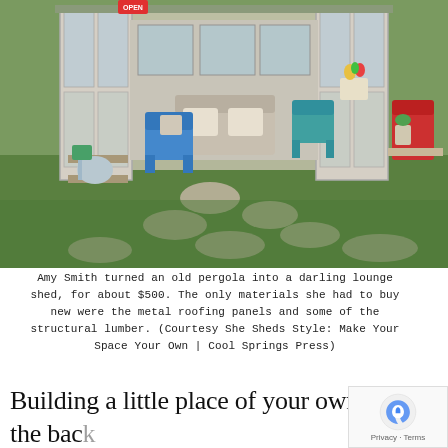[Figure (photo): A charming backyard lounge shed made from an old pergola, decorated with vintage furniture including blue metal chairs, a wooden bench with cushions, a teal chair, a red chair, potted plants and flowers, stepping stones leading through the grass toward the open shed.]
Amy Smith turned an old pergola into a darling lounge shed, for about $500. The only materials she had to buy new were the metal roofing panels and some of the structural lumber. (Courtesy She Sheds Style: Make Your Space Your Own | Cool Springs Press)
Building a little place of your own in the back sounds wonderful, doesn't it? Well, it is. Like